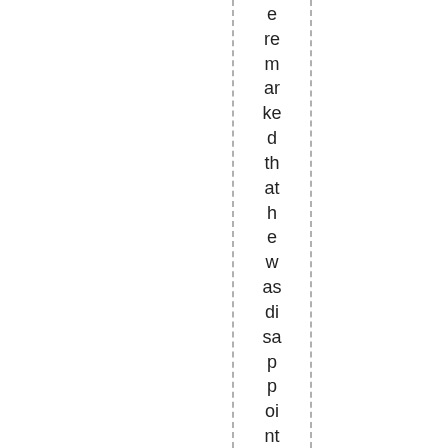e re m ar ke d th at h e w as di sa p p oi nt e d to le ar n th at , at so m